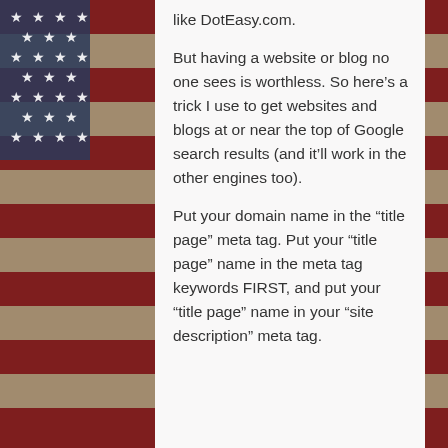[Figure (illustration): American flag image as background on the left and right sides of the page, with dark red and white stripes and stars on a dark blue/grey field.]
like DotEasy.com.
But having a website or blog no one sees is worthless. So here’s a trick I use to get websites and blogs at or near the top of Google search results (and it’ll work in the other engines too).
Put your domain name in the “title page” meta tag. Put your “title page” name in the meta tag keywords FIRST, and put your “title page” name in your “site description” meta tag.